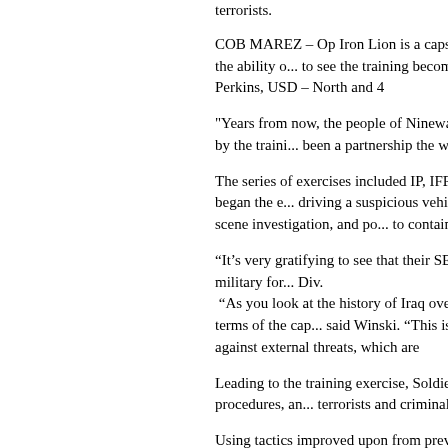terrorists.
COB MAREZ – Op Iron Lion is a capstone tr... demonstrate ISF' capabilities, and the ability ... to see the training become routine, and part o... Maj. Gen. David Perkins, USD – North and 4
"Years from now, the people of Ninewa can lo... based upon the security achieved by the traini... been a partnership the whole way, and what w... said.
The series of exercises included IP, IFP, ISOF... U.S. and Iraqi military leaders. IP began the ... driving a suspicious vehicle, as part of the tra... conducted a crime scene investigation, and po... to contain a group of role-players demonstrati...
“It’s very gratifying to see that their SECFOR... continuing to build a professional military for... Div.
“As you look at the history of Iraq over the c... that were very problematic in terms of the ca... said Winski. “This is our main training effort ... for defense against external threats, which are
Leading to the training exercise, Soldiers assi... conduct urban ops, checkpoint procedures, an... terrorists and criminals.
Using tactics improved upon from previous tr...